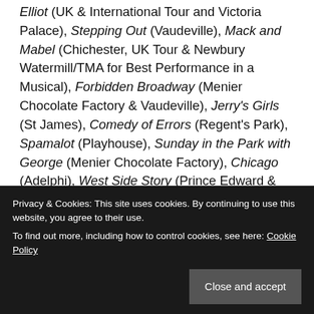Elliot (UK & International Tour and Victoria Palace), Stepping Out (Vaudeville), Mack and Mabel (Chichester, UK Tour & Newbury Watermill/TMA for Best Performance in a Musical), Forbidden Broadway (Menier Chocolate Factory & Vaudeville), Jerry's Girls (St James), Comedy of Errors (Regent's Park), Spamalot (Playhouse), Sunday in the Park with George (Menier Chocolate Factory), Chicago (Adelphi), West Side Story (Prince Edward & Prince Of Wales), Starlight Express (Apollo
Privacy & Cookies: This site uses cookies. By continuing to use this website, you agree to their use. To find out more, including how to control cookies, see here: Cookie Policy
Cabaret is booking at the Kit Kat Club until Saturday